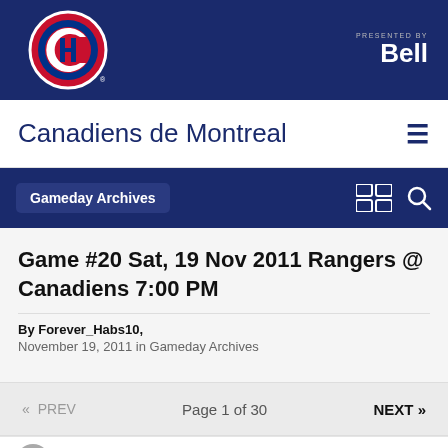[Figure (logo): Montreal Canadiens 'CH' logo on dark blue header bar with 'Presented by Bell' text on right]
Canadiens de Montreal
Gameday Archives
Game #20 Sat, 19 Nov 2011 Rangers @ Canadiens 7:00 PM
By Forever_Habs10,
November 19, 2011 in Gameday Archives
« PREV   Page 1 of 30   NEXT »